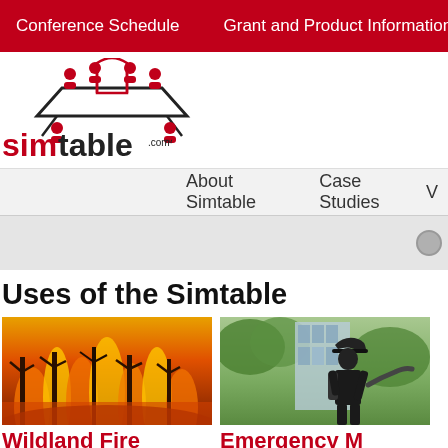Conference Schedule | Grant and Product Information | News, ...
[Figure (logo): Simtable.com logo with red people icons around a table and arch symbol]
About Simtable | Case Studies | ...
Uses of the Simtable
[Figure (photo): Wildland fire with orange flames and burning trees]
Wildland Fire
[Figure (photo): Emergency management silhouette of firefighter with equipment]
Emergency M...